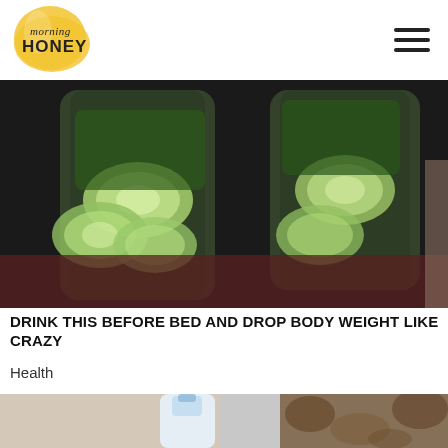[Figure (logo): Morning Honey logo — circular yellow shape with italic 'morning' text above bold 'HONEY' text]
[Figure (photo): Two tall glass jars filled with cucumber slices and green leafy herbs, placed on a dark surface]
DRINK THIS BEFORE BED AND DROP BODY WEIGHT LIKE CRAZY
Health
[Figure (photo): Person pouring liquid from a small bottle onto someone's curly hair]